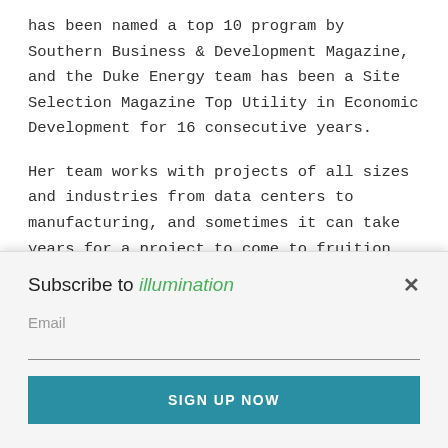has been named a top 10 program by Southern Business & Development Magazine, and the Duke Energy team has been a Site Selection Magazine Top Utility in Economic Development for 16 consecutive years.
Her team works with projects of all sizes and industries from data centers to manufacturing, and sometimes it can take years for a project to come to fruition, but it's rewarding to know she's helping bring opportunity to the area.
“Every project is different, every interaction with our operations centers is different,” Ruiz said, “but, at the end of
Subscribe to illumination
Email
SIGN UP NOW